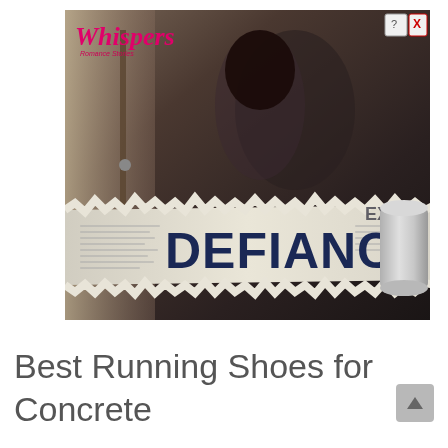[Figure (photo): Advertisement banner for 'Whispers Romance Stories' featuring a couple in an intimate pose in a room setting, with a torn newspaper overlay displaying the word 'DEFIANCE' in large bold dark blue letters, and a paper roll on the right side. The Whispers logo is in pink cursive at the top left. A close/help button is at the top right corner of the ad.]
Best Running Shoes for Concrete